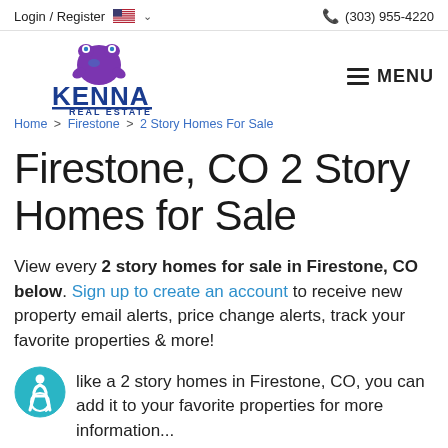Login / Register  (303) 955-4220
[Figure (logo): Kenna Real Estate logo with purple frog mascot and blue text]
Home > Firestone > 2 Story Homes For Sale
Firestone, CO 2 Story Homes for Sale
View every 2 story homes for sale in Firestone, CO below. Sign up to create an account to receive new property email alerts, price change alerts, track your favorite properties & more!
If you like a 2 story homes in Firestone, CO, you can add it to your favorite properties for more information...